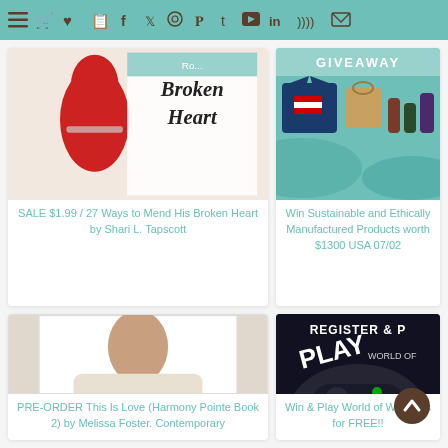Navigation bar with hamburger menu and social/utility icons on teal background
[Figure (illustration): Book cover for '27 Ways to Mend His Broken Heart' by Shari L. Tapscott showing woman in red dress]
SALE $1.99 / 27 Ways to Mend His Broken Heart by Shari L. Tapscott
[Figure (illustration): Giveaway image showing sustainable and ethically manufactured products including t-shirt and accessories]
Win Sustainable and Ethically Manufactured Products worth $1300 USA 07/02
[Figure (illustration): Book cover for 'This Is Love' (Harmony Pointe Book 2) by Melissa Foster]
PRE-ORDER This Is Love (Harmony Pointe Book 2) by Melissa Foster. Contemporary
[Figure (illustration): World of Warships promotional image with gaming controller and 'Register & Play Free' text]
Win & Play World of Warships for FREE!!